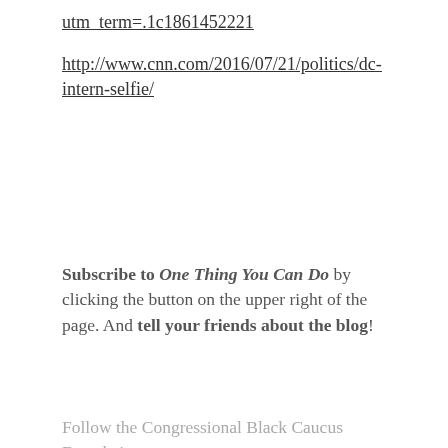utm_term=.1c1861452221
http://www.cnn.com/2016/07/21/politics/dc-intern-selfie/
Subscribe to One Thing You Can Do by clicking the button on the upper right of the page. And tell your friends about the blog!
Follow the Congressional Black Caucus Foundation on